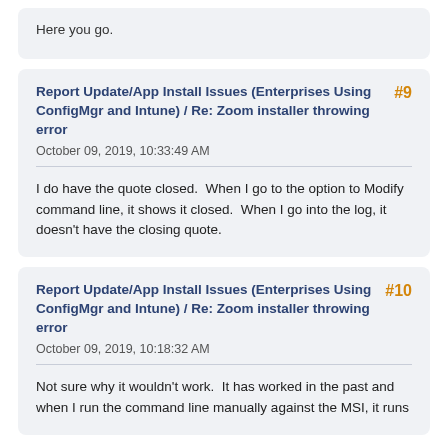Here you go.
Report Update/App Install Issues (Enterprises Using ConfigMgr and Intune) / Re: Zoom installer throwing error
October 09, 2019, 10:33:49 AM
I do have the quote closed.  When I go to the option to Modify command line, it shows it closed.  When I go into the log, it doesn't have the closing quote.
Report Update/App Install Issues (Enterprises Using ConfigMgr and Intune) / Re: Zoom installer throwing error
October 09, 2019, 10:18:32 AM
Not sure why it wouldn't work.  It has worked in the past and when I run the command line manually against the MSI, it runs